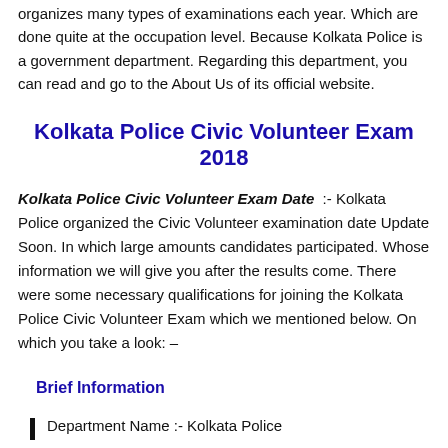organizes many types of examinations each year. Which are done quite at the occupation level. Because Kolkata Police is a government department. Regarding this department, you can read and go to the About Us of its official website.
Kolkata Police Civic Volunteer Exam 2018
Kolkata Police Civic Volunteer Exam Date :- Kolkata Police organized the Civic Volunteer examination date Update Soon. In which large amounts candidates participated. Whose information we will give you after the results come. There were some necessary qualifications for joining the Kolkata Police Civic Volunteer Exam which we mentioned below. On which you take a look: –
Brief Information
Department Name :- Kolkata Police